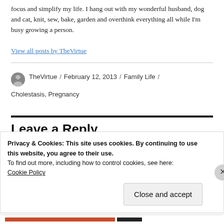focus and simplify my life. I hang out with my wonderful husband, dog and cat, knit, sew, bake, garden and overthink everything all while I'm busy growing a person.
View all posts by TheVirtue
TheVirtue / February 12, 2013 / Family Life / Cholestasis, Pregnancy
Leave a Reply
Privacy & Cookies: This site uses cookies. By continuing to use this website, you agree to their use.
To find out more, including how to control cookies, see here:
Cookie Policy
Close and accept